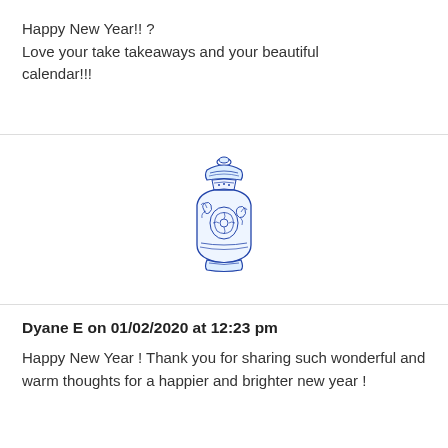Happy New Year!! ?
Love your take takeaways and your beautiful calendar!!!
[Figure (illustration): Blue and white decorative Chinese ginger jar / vase with floral motifs and lid]
Dyane E on 01/02/2020 at 12:23 pm
Happy New Year ! Thank you for sharing such wonderful and warm thoughts for a happier and brighter new year !